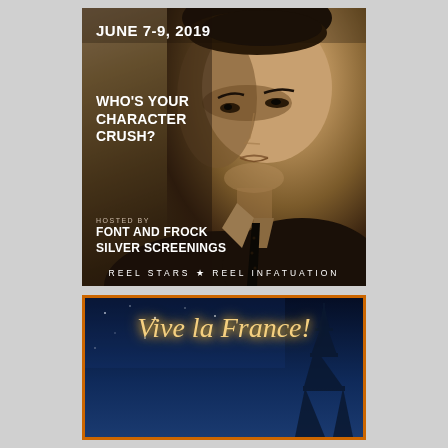[Figure (photo): Vintage sepia-toned portrait of an Asian man in a dark suit with text overlay: date JUNE 7-9, 2019; question WHO'S YOUR CHARACTER CRUSH?; HOSTED BY FONT AND FROCK SILVER SCREENINGS; bottom banner REEL STARS ★ REEL INFATUATION]
[Figure (photo): Partial view of a second poster with orange border on dark blue background showing cursive text 'Vive la France!' with Eiffel tower silhouette]